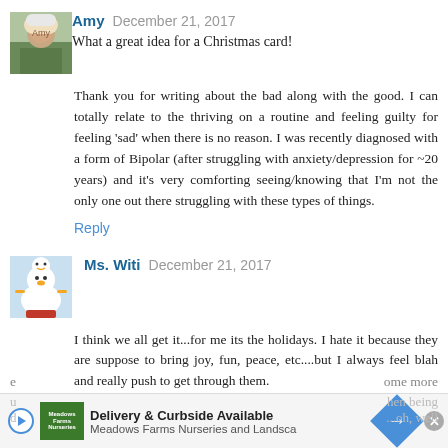[Figure (photo): Avatar photo of Amy, showing a person wearing a white hat outdoors]
Amy  December 21, 2017
What a great idea for a Christmas card!
Thank you for writing about the bad along with the good. I can totally relate to the thriving on a routine and feeling guilty for feeling 'sad' when there is no reason. I was recently diagnosed with a form of Bipolar (after struggling with anxiety/depression for ~20 years) and it's very comforting seeing/knowing that I'm not the only one out there struggling with these types of things.
Reply
[Figure (photo): Avatar photo of Ms. Witi, showing a snowman character (Olaf from Frozen)]
Ms. Witi  December 21, 2017
I think we all get it...for me its the holidays. I hate it because they are suppose to bring joy, fun, peace, etc....but I always feel blah and really push to get through them.
My meds are making me happier this year although, I have been
[Figure (screenshot): Advertisement banner: Delivery & Curbside Available - Meadows Farms Nurseries and Landscape, with a blue diamond arrow icon and close button]